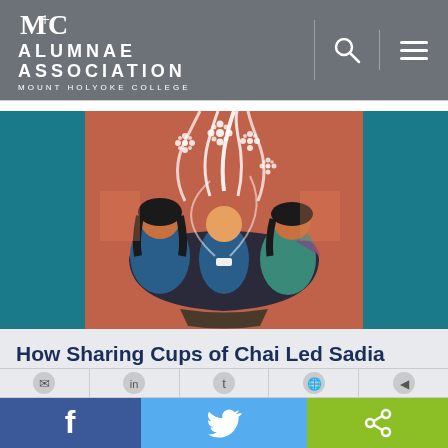MHC ALUMNAE ASSOCIATION MOUNT HOLYOKE COLLEGE
[Figure (illustration): Colorful stylized painting of women sharing cups of chai, with steam rising in floral patterns against a teal and red background]
How Sharing Cups of Chai Led Sadia Khatri '15 to Call Herself a Feminist
(partial text cut off at bottom)